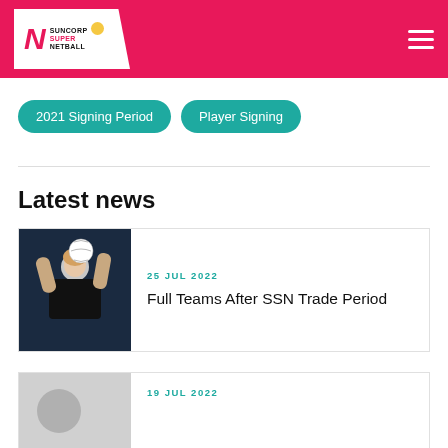Suncorp Super Netball
2021 Signing Period
Player Signing
Latest news
[Figure (photo): Netball player in dark uniform holding a netball above her head, preparing to throw]
25 JUL 2022
Full Teams After SSN Trade Period
19 JUL 2022